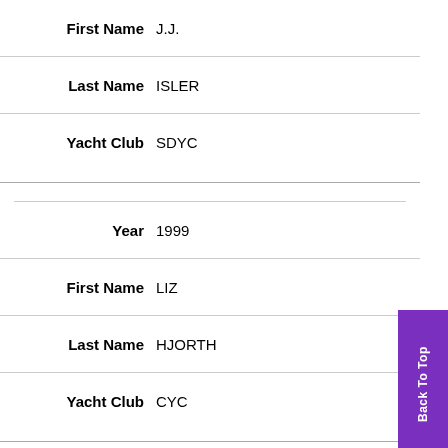| Field | Value |
| --- | --- |
| First Name | J.J. |
| Last Name | ISLER |
| Yacht Club | SDYC |
| Year | 1999 |
| First Name | LIZ |
| Last Name | HJORTH |
| Yacht Club | CYC |
| Year | 1997 |
| First Name | CAMILLE |
| Last Name | DANIELS |
| Yacht Club | LBYC |
| Year | 1996 |